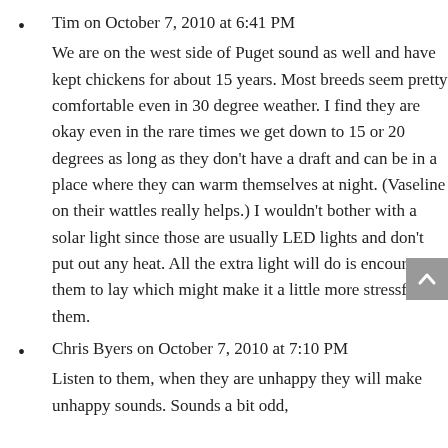Tim on October 7, 2010 at 6:41 PM
We are on the west side of Puget sound as well and have kept chickens for about 15 years. Most breeds seem pretty comfortable even in 30 degree weather. I find they are okay even in the rare times we get down to 15 or 20 degrees as long as they don't have a draft and can be in a place where they can warm themselves at night. (Vaseline on their wattles really helps.) I wouldn't bother with a solar light since those are usually LED lights and don't put out any heat. All the extra light will do is encourage them to lay which might make it a little more stressful for them.
Chris Byers on October 7, 2010 at 7:10 PM
Listen to them, when they are unhappy they will make unhappy sounds. Sounds a bit odd,